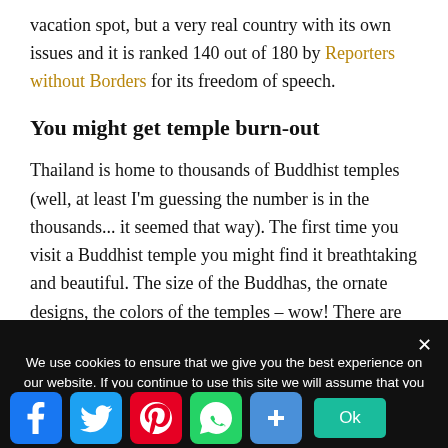vacation spot, but a very real country with its own issues and it is ranked 140 out of 180 by Reporters without Borders for its freedom of speech.
You might get temple burn-out
Thailand is home to thousands of Buddhist temples (well, at least I'm guessing the number is in the thousands... it seemed that way). The first time you visit a Buddhist temple you might find it breathtaking and beautiful. The size of the Buddhas, the ornate designs, the colors of the temples – wow! There are some incredible pieces of architecture in
We use cookies to ensure that we give you the best experience on our website. If you continue to use this site we will assume that you are happy with it.